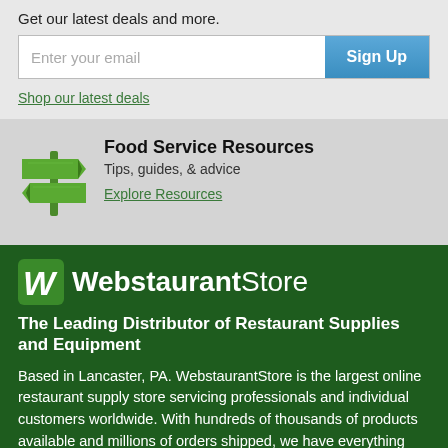Get our latest deals and more.
[Figure (screenshot): Email signup form with text input 'Enter your email' and a blue 'Sign Up' button]
Shop our latest deals
[Figure (illustration): Green signpost/directional sign icon]
Food Service Resources
Tips, guides, & advice
Explore Resources
[Figure (logo): WebstaurantStore logo — green W badge and text 'WebstaurantStore']
The Leading Distributor of Restaurant Supplies and Equipment
Based in Lancaster, PA. WebstaurantStore is the largest online restaurant supply store servicing professionals and individual customers worldwide. With hundreds of thousands of products available and millions of orders shipped, we have everything your business needs to function at its best. Over